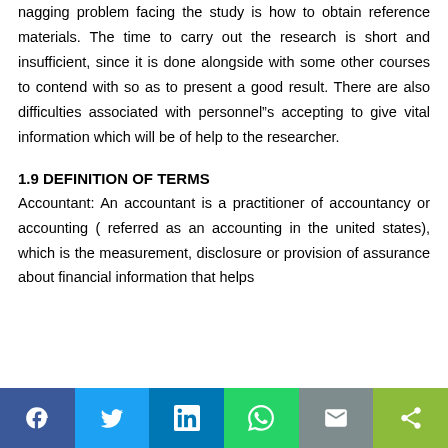nagging problem facing the study is how to obtain reference materials. The time to carry out the research is short and insufficient, since it is done alongside with some other courses to contend with so as to present a good result. There are also difficulties associated with personnel"s accepting to give vital information which will be of help to the researcher.
1.9 DEFINITION OF TERMS
Accountant: An accountant is a practitioner of accountancy or accounting ( referred as an accounting in the united states), which is the measurement, disclosure or provision of assurance about financial information that helps